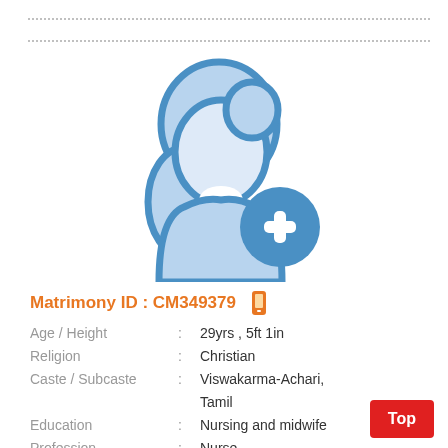[Figure (illustration): Female profile placeholder icon in light blue with a blue circle plus sign overlay, indicating no photo uploaded]
Matrimony ID : CM349379
Age / Height : 29yrs , 5ft 1in
Religion : Christian
Caste / Subcaste : Viswakarma-Achari, Tamil
Education : Nursing and midwife
Profession : Nurse
Gender : Female / Bride
Star / Rasi : Does not matter ,Does not matter ,